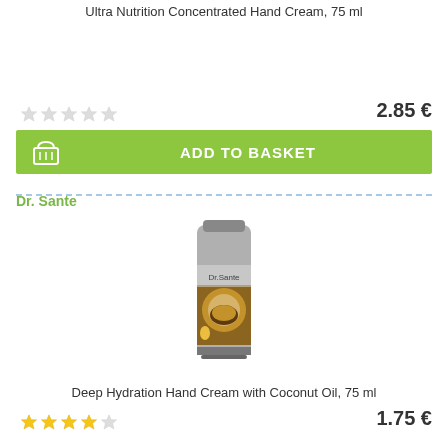Ultra Nutrition Concentrated Hand Cream, 75 ml
2.85 €
ADD TO BASKET
Dr. Sante
[Figure (photo): Tube of Dr. Sante Deep Hydration Hand Cream with Coconut Oil, 75 ml]
Deep Hydration Hand Cream with Coconut Oil, 75 ml
1.75 €